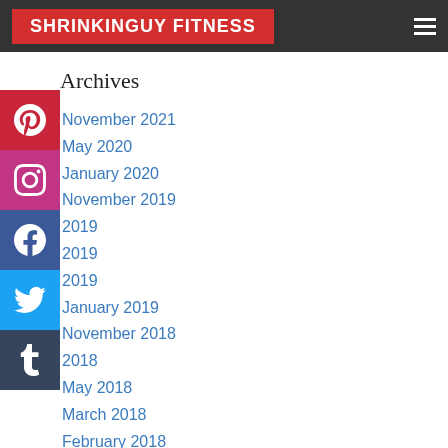SHRINKINGUY FITNESS
Archives
November 2021
May 2020
January 2020
November 2019
2019
2019
2019
January 2019
November 2018
2018
May 2018
March 2018
February 2018